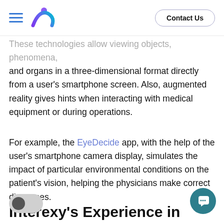Interexy logo | Contact Us
These technologies allow viewing objects, phenomena, and organs in a three-dimensional format directly from a user's smartphone screen. Also, augmented reality gives hints when interacting with medical equipment or during operations.
For example, the EyeDecide app, with the help of the user's smartphone camera display, simulates the impact of particular environmental conditions on the patient's vision, helping the physicians make correct diagnoses.
Interexy's Experience in